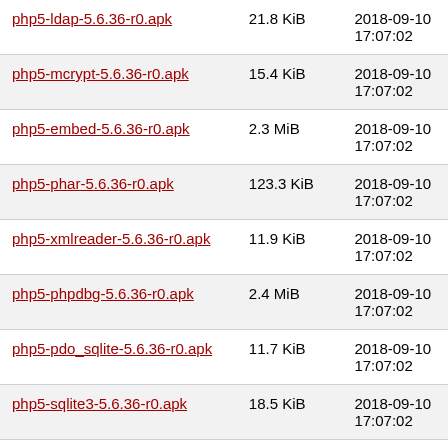| Filename | Size | Date |
| --- | --- | --- |
| php5-ldap-5.6.36-r0.apk | 21.8 KiB | 2018-09-10 17:07:02 |
| php5-mcrypt-5.6.36-r0.apk | 15.4 KiB | 2018-09-10 17:07:02 |
| php5-embed-5.6.36-r0.apk | 2.3 MiB | 2018-09-10 17:07:02 |
| php5-phar-5.6.36-r0.apk | 123.3 KiB | 2018-09-10 17:07:02 |
| php5-xmlreader-5.6.36-r0.apk | 11.9 KiB | 2018-09-10 17:07:02 |
| php5-phpdbg-5.6.36-r0.apk | 2.4 MiB | 2018-09-10 17:07:02 |
| php5-pdo_sqlite-5.6.36-r0.apk | 11.7 KiB | 2018-09-10 17:07:02 |
| php5-sqlite3-5.6.36-r0.apk | 18.5 KiB | 2018-09-10 17:07:02 |